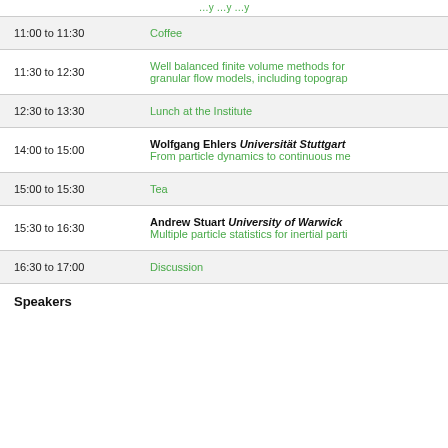| Time | Event |
| --- | --- |
| 11:00 to 11:30 | Coffee |
| 11:30 to 12:30 | Well balanced finite volume methods for granular flow models, including topograp… |
| 12:30 to 13:30 | Lunch at the Institute |
| 14:00 to 15:00 | Wolfgang Ehlers Universität Stuttgart
From particle dynamics to continuous me… |
| 15:00 to 15:30 | Tea |
| 15:30 to 16:30 | Andrew Stuart University of Warwick
Multiple particle statistics for inertial parti… |
| 16:30 to 17:00 | Discussion |
Speakers